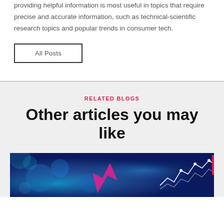providing helpful information is most useful in topics that require precise and accurate information, such as technical-scientific research topics and popular trends in consumer tech.
All Posts
RELATED BLOGS
Other articles you may like
[Figure (photo): Dark blue abstract technology background with glowing elements, pink arrow shape, and white chart lines. A pink/red back-to-top button with a chevron up arrow is visible in the top right corner of the image.]